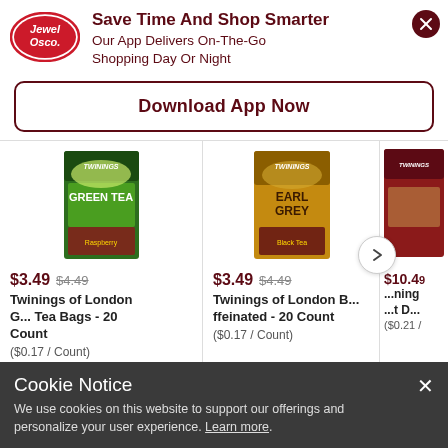[Figure (logo): Jewel Osco logo — red oval with white text]
Save Time And Shop Smarter
Our App Delivers On-The-Go Shopping Day Or Night
Download App Now
[Figure (photo): Twinings Green Tea box, 20 count]
$3.49  $4.49
Twinings of London G... Tea Bags - 20 Count
($0.17 / Count)
[Figure (photo): Twinings Earl Grey tea box, 20 count]
$3.49  $4.49
Twinings of London B...ffeinated - 20 Count
($0.17 / Count)
[Figure (photo): Partial view of a third Twinings product box]
$10.49
...ning ...t D...
($0.21 /
Cookie Notice
We use cookies on this website to support our offerings and personalize your user experience. Learn more.